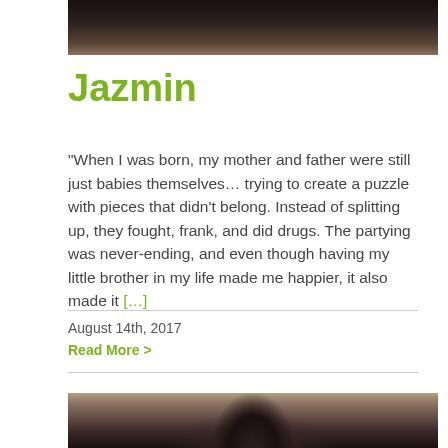[Figure (photo): Top portion of a person's head with dark hair, cropped photo showing hair and top of face]
Jazmin
“When I was born, my mother and father were still just babies themselves… trying to create a puzzle with pieces that didn’t belong. Instead of splitting up, they fought, frank, and did drugs. The partying was never-ending, and even though having my little brother in my life made me happier, it also made it […]
August 14th, 2017
Read More >
[Figure (photo): Bottom portion showing the top of a person's head with tightly coiled/braided dark hair, cropped photo]